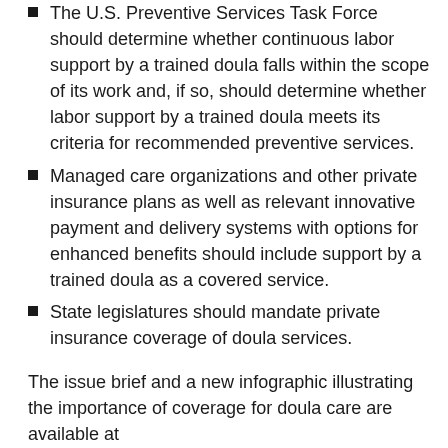The U.S. Preventive Services Task Force should determine whether continuous labor support by a trained doula falls within the scope of its work and, if so, should determine whether labor support by a trained doula meets its criteria for recommended preventive services.
Managed care organizations and other private insurance plans as well as relevant innovative payment and delivery systems with options for enhanced benefits should include support by a trained doula as a covered service.
State legislatures should mandate private insurance coverage of doula services.
The issue brief and a new infographic illustrating the importance of coverage for doula care are available at http://Transform.ChildbirthConnection.org/Reports/Doula